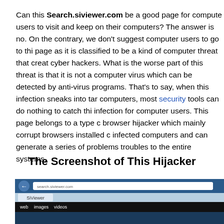Can this Search.siviewer.com be a good page for computer users to visit and keep on their computers? The answer is no. On the contrary, we don't suggest computer users to go to this page as it is classified to be a kind of computer threat that created by cyber hackers. What is the worse part of this threat is that it is not a computer virus which can be detected by anti-virus programs. That's to say, when this infection sneaks into target computers, most security tools can do nothing to catch this infection for computer users. This page belongs to a type of browser hijacker which mainly corrupt browsers installed on infected computers and can generate a series of problems and troubles to the entire systems.
The Screenshot of This Hijacker
[Figure (screenshot): Screenshot of a browser showing the siviewer.com hijacker page, with a blue browser toolbar, address bar, tab bar with 'SiViewer' tab, and black navigation bar with web, images, videos links.]